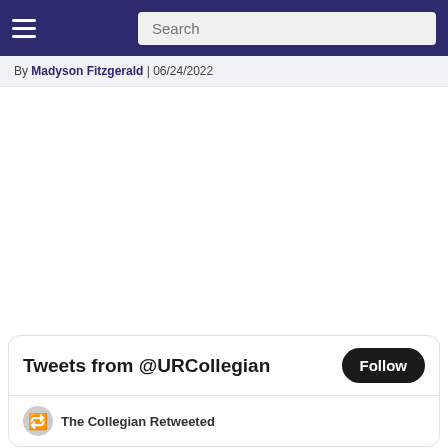≡  Search
By Madyson Fitzgerald | 06/24/2022
[Figure (screenshot): Blank white content area (image not loaded)]
Tweets from @URCollegian  Follow
The Collegian Retweeted